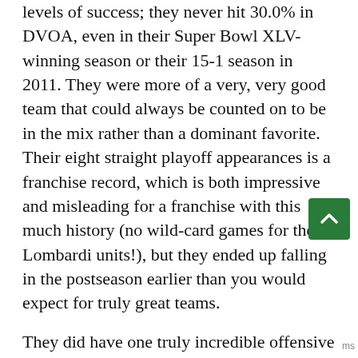levels of success; they never hit 30.0% in DVOA, even in their Super Bowl XLV-winning season or their 15-1 season in 2011. They were more of a very, very good team that could always be counted on to be in the mix rather than a dominant favorite. Their eight straight playoff appearances is a franchise record, which is both impressive and misleading for a franchise with this much history (no wild-card games for the Lombardi units!), but they ended up falling in the postseason earlier than you would expect for truly great teams.

They did have one truly incredible offensive season in 2011; that was Aaron Rogers' MVP year, when he had a franchise-record 2,130 DYAR while throwing for 45 touchdowns, and when Jordy Nelson set the franchise record for receiving DYAR. Green Bay's 33.8% offensive DVOA is the sixth-highest we've recorded, and only falls to 10th when